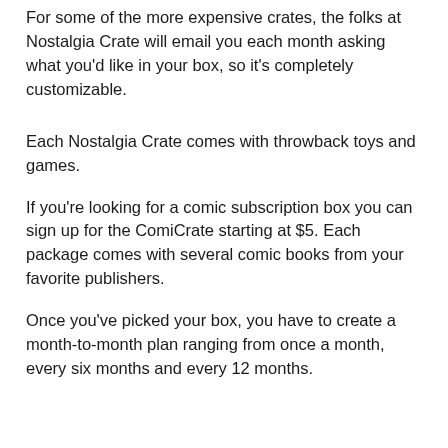For some of the more expensive crates, the folks at Nostalgia Crate will email you each month asking what you'd like in your box, so it's completely customizable.
Each Nostalgia Crate comes with throwback toys and games.
If you're looking for a comic subscription box you can sign up for the ComiCrate starting at $5. Each package comes with several comic books from your favorite publishers.
Once you've picked your box, you have to create a month-to-month plan ranging from once a month, every six months and every 12 months.